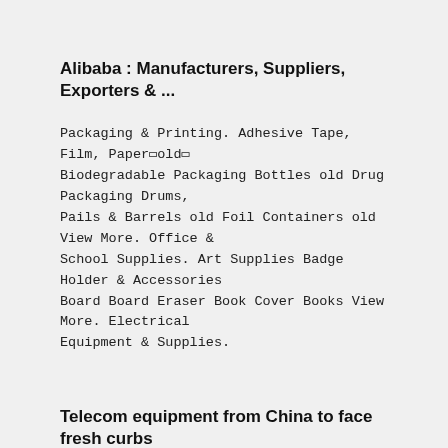Alibaba : Manufacturers, Suppliers, Exporters & ...
Packaging & Printing. Adhesive Tape, Film, Paper□old□ Biodegradable Packaging Bottles old Drug Packaging Drums, Pails & Barrels old Foil Containers old View More. Office & School Supplies. Art Supplies Badge Holder & Accessories Board Board Eraser Book Cover Books View More. Electrical Equipment & Supplies.
Telecom equipment from China to face fresh curbs
· Telecom equipment from China may face fresh curbs after the Cabinet on Wednesday cleared a proposal to secure telecom infrastructure by designating a "trusted source" for ...